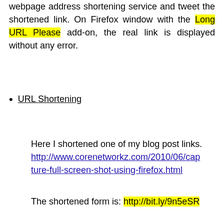webpage address shortening service and tweet the shortened link. On Firefox window with the Long URL Please add-on, the real link is displayed without any error.
URL Shortening
Here I shortened one of my blog post links. http://www.corenetworkz.com/2010/06/capture-full-screen-shot-using-firefox.html
The shortened form is: http://bit.ly/9n5eSR